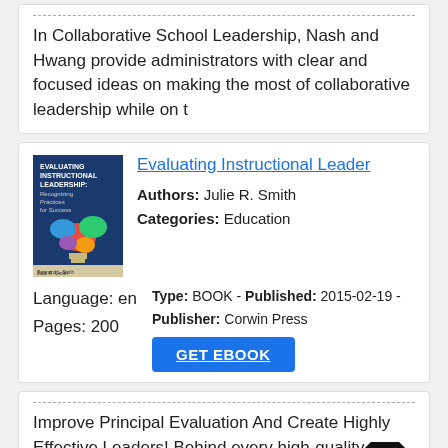In Collaborative School Leadership, Nash and Hwang provide administrators with clear and focused ideas on making the most of collaborative leadership while on t
[Figure (illustration): Book cover of 'Evaluating Instructional Leadership: Recognizing Practices for Success' by Julie R. Smith and Raymond L. Smith, with colorful speech bubble shapes on dark blue background]
Evaluating Instructional Leade...
Authors: Julie R. Smith
Categories: Education
Type: BOOK - Published: 2015-02-19 - Publisher: Corwin Press
Language: en
Pages: 200
GET EBOOK
Improve Principal Evaluation And Create Highly Effective Leaders! Behind every high-quality principal is an airtight system of leadership evaluation that consis
[Figure (illustration): Book cover of 'Coherent School Leadership' with colorful mosaic pattern]
Coherent School Leadership